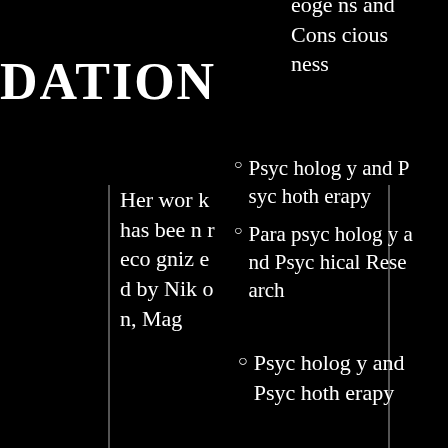DATION
Her work has been recognized by Nikon, Mag
eoge ns and Consciousness
Psychology and Psychotherapy
Parapsychology and Psychical Research